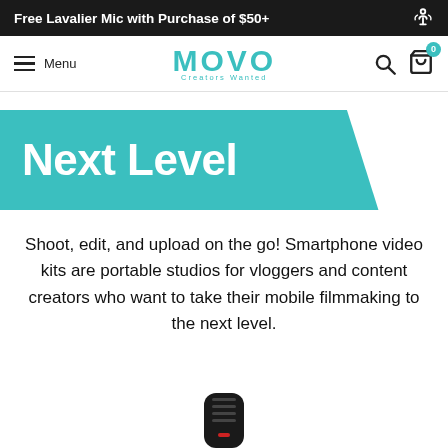Free Lavalier Mic with Purchase of $50+
[Figure (logo): MOVO logo with tagline 'Creators Wanted' in teal color, navigation bar with hamburger menu, search and cart icons]
Next Level
Shoot, edit, and upload on the go! Smartphone video kits are portable studios for vloggers and content creators who want to take their mobile filmmaking to the next level.
[Figure (photo): Partial product photo of a smartphone microphone at the bottom of the page]